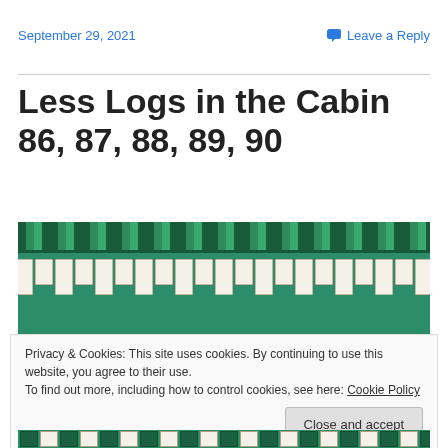September 29, 2021
Leave a Reply
Less Logs in the Cabin 86, 87, 88, 89, 90
[Figure (photo): A quilt featuring a log cabin pattern with green and white fabric strips, displayed as a banner/top portion.]
Privacy & Cookies: This site uses cookies. By continuing to use this website, you agree to their use.
To find out more, including how to control cookies, see here: Cookie Policy
Close and accept